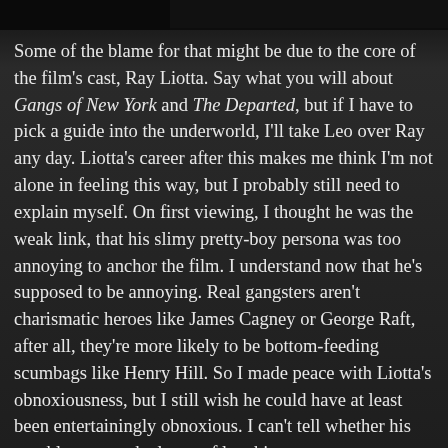[Figure (photo): Dark partial image strip at the top of the page, appears to be a movie still or similar image, mostly black/dark.]
Some of the blame for that might be due to the core of the film's cast, Ray Liotta. Say what you will about Gangs of New York and The Departed, but if I have to pick a guide into the underworld, I'll take Leo over Ray any day. Liotta's career after this makes me think I'm not alone in feeling this way, but I probably still need to explain myself. On first viewing, I thought he was the weak link, that his slimy pretty-boy persona was too annoying to anchor the film. I understand now that he's supposed to be annoying. Real gangsters aren't charismatic heroes like James Cagney or George Raft, after all, they're more likely to be bottom-feeding scumbags like Henry Hill. So I made peace with Liotta's obnoxiousness, but I still wish he could have at least been entertainingly obnoxious. I can't tell whether his overblown, crooked way of laughing